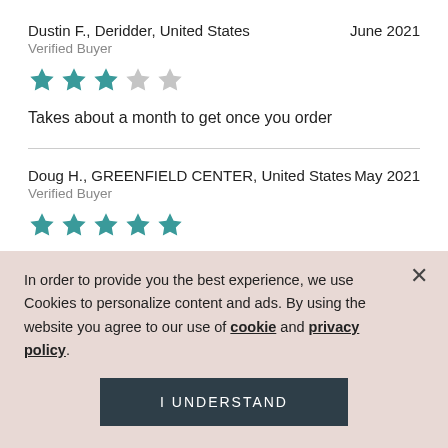Dustin F., Deridder, United States — June 2021
Verified Buyer
[Figure (other): 3 out of 5 stars rating]
Takes about a month to get once you order
Doug H., GREENFIELD CENTER, United States — May 2021
Verified Buyer
[Figure (other): 5 out of 5 stars rating]
This was a great gift for my wife found it on an interesting...
In order to provide you the best experience, we use Cookies to personalize content and ads. By using the website you agree to our use of cookie and privacy policy.
I UNDERSTAND